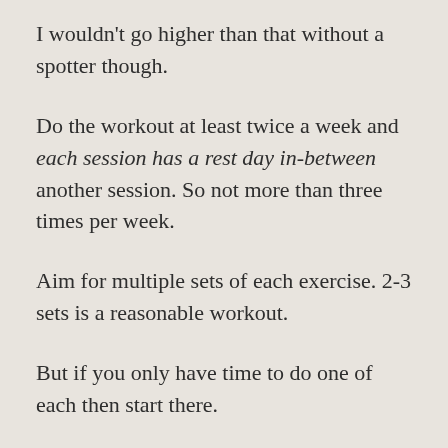I wouldn't go higher than that without a spotter though.
Do the workout at least twice a week and each session has a rest day in-between another session. So not more than three times per week.
Aim for multiple sets of each exercise. 2-3 sets is a reasonable workout.
But if you only have time to do one of each then start there.
You need to rest between each set to get the most out of it.